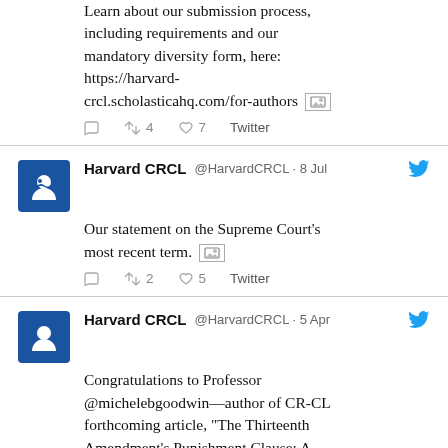Learn about our submission process, including requirements and our mandatory diversity form, here: https://harvard-crcl.scholasticahq.com/for-authors
Reply 4 Retweet 7 Like Twitter
Harvard CRCL @HarvardCRCL · 8 Jul
Our statement on the Supreme Court's most recent term.
Reply 2 Retweet 5 Like Twitter
Harvard CRCL @HarvardCRCL · 5 Apr
Congratulations to Professor @michelebgoodwin—author of CR-CL forthcoming article, "The Thirteenth Amendment's Punishment Clause: A Spectacle of Slavery Unwilling to Die" — for winning the @ABAesq's 2022 Margaret